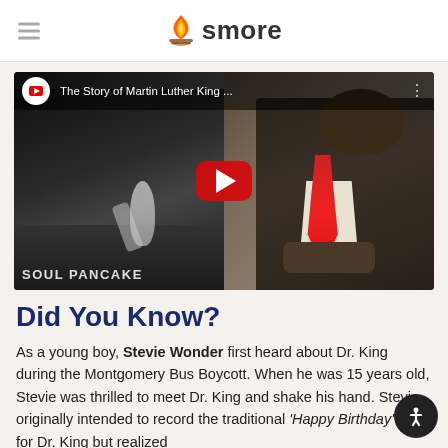smore
[Figure (screenshot): YouTube video thumbnail for 'The Story of Martin Luther King ...' showing a split image of MLK speaking in black and white on the left, and a young boy in a suit with a red tie on the right. Soul Pancake branding visible at bottom left. Red YouTube play button in center.]
Did You Know?
As a young boy, Stevie Wonder first heard about Dr. King during the Montgomery Bus Boycott. When he was 15 years old, Stevie was thrilled to meet Dr. King and shake his hand. Stevie originally intended to record the traditional 'Happy Birthday' song for Dr. King but realized